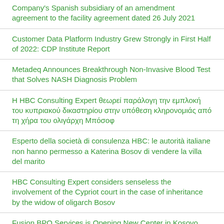Company's Spanish subsidiary of an amendment agreement to the facility agreement dated 26 July 2021
Customer Data Platform Industry Grew Strongly in First Half of 2022: CDP Institute Report
Metadeq Announces Breakthrough Non-Invasive Blood Test that Solves NASH Diagnosis Problem
Η HBC Consulting Expert θεωρεί παράλογη την εμπλοκή του κυπριακού δικαστηρίου στην υπόθεση κληρονομιάς από τη χήρα του ολιγάρχη Μπόσοφ
Esperto della società di consulenza HBC: le autorità italiane non hanno permesso a Katerina Bosov di vendere la villa del marito
HBC Consulting Expert considers senseless the involvement of the Cypriot court in the case of inheritance by the widow of oligarch Bosov
Fusion BPO Services is Opening New Center in Kosovo